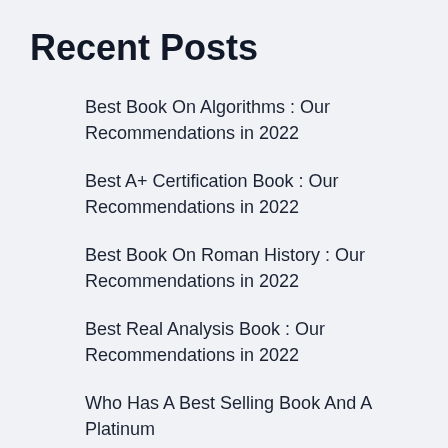Recent Posts
Best Book On Algorithms : Our Recommendations in 2022
Best A+ Certification Book : Our Recommendations in 2022
Best Book On Roman History : Our Recommendations in 2022
Best Real Analysis Book : Our Recommendations in 2022
Who Has A Best Selling Book And A Platinum